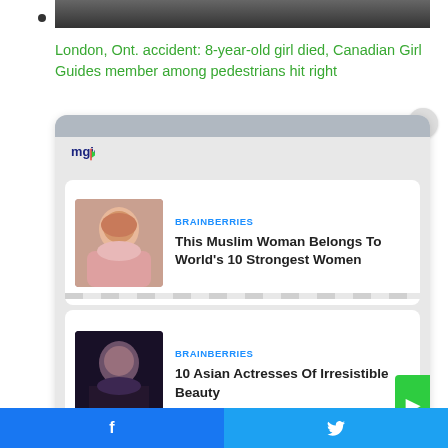[Figure (photo): Dark top image partial view, cropped at top]
London, Ont. accident: 8-year-old girl died, Canadian Girl Guides member among pedestrians hit right
[Figure (screenshot): MGID ad widget overlay with two sponsored content cards. Card 1: BRAINBERRIES - This Muslim Woman Belongs To World's 10 Strongest Women (photo of woman in hijab). Card 2: BRAINBERRIES - 10 Asian Actresses Of Irresistible Beauty (photo of woman). Close button (X) visible. Green button at bottom right.]
Facebook share | Twitter share